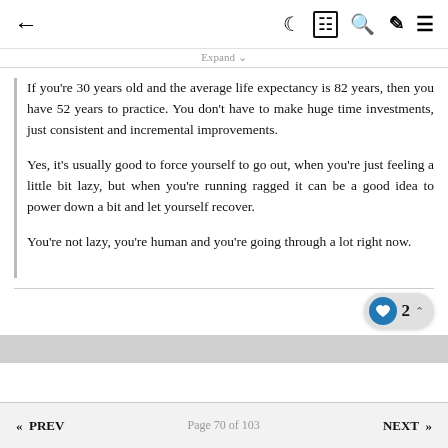← (back) (night mode) (reading mode) (search) (brush) (menu)
Expand ∨
If you're 30 years old and the average life expectancy is 82 years, then you have 52 years to practice. You don't have to make huge time investments, just consistent and incremental improvements.
Yes, it's usually good to force yourself to go out, when you're just feeling a little bit lazy, but when you're running ragged it can be a good idea to power down a bit and let yourself recover.
You're not lazy, you're human and you're going through a lot right now.
« PREV   Page 70 of 103   NEXT »